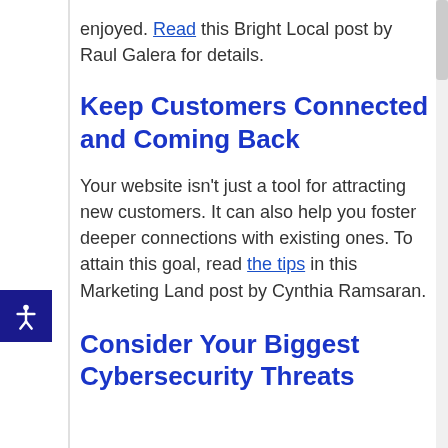enjoyed. Read this Bright Local post by Raul Galera for details.
Keep Customers Connected and Coming Back
Your website isn’t just a tool for attracting new customers. It can also help you foster deeper connections with existing ones. To attain this goal, read the tips in this Marketing Land post by Cynthia Ramsaran.
Consider Your Biggest Cybersecurity Threats